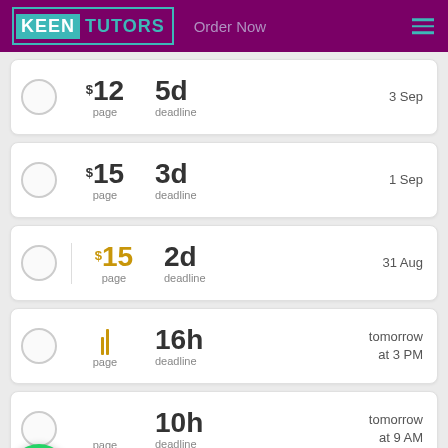KEEN TUTORS — Order Now
$12/page — 5d deadline — 3 Sep
$15/page — 3d deadline — 1 Sep
$15/page — 2d deadline — 31 Aug
page — 16h deadline — tomorrow at 3 PM
page — 10h deadline — tomorrow at 9 AM
8h deadline — tomorrow at 7 AM